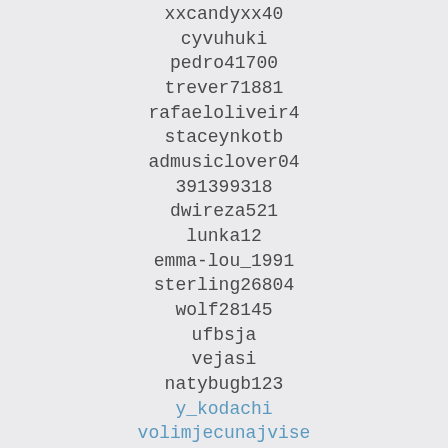xxcandyxx40
cyvuhuki
pedro41700
trever71881
rafaeloliveir4
staceynkotb
admusiclover04
391399318
dwireza521
lunka12
emma-lou_1991
sterling26804
wolf28145
ufbsja
vejasi
natybugb123
y_kodachi
volimjecunajvise
yakovleva-aleksa
virgmoore
vjtrp1fc
televisionarie
laneraboo
shorty19_79
tcpromake_up